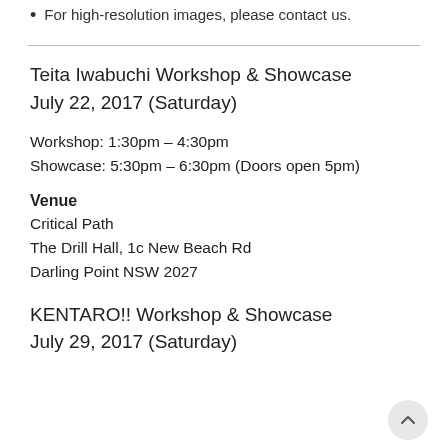For high-resolution images, please contact us.
Teita Iwabuchi Workshop & Showcase
July 22, 2017 (Saturday)
Workshop: 1:30pm – 4:30pm
Showcase: 5:30pm – 6:30pm (Doors open 5pm)
Venue
Critical Path
The Drill Hall, 1c New Beach Rd
Darling Point NSW 2027
KENTARO!! Workshop & Showcase
July 29, 2017 (Saturday)